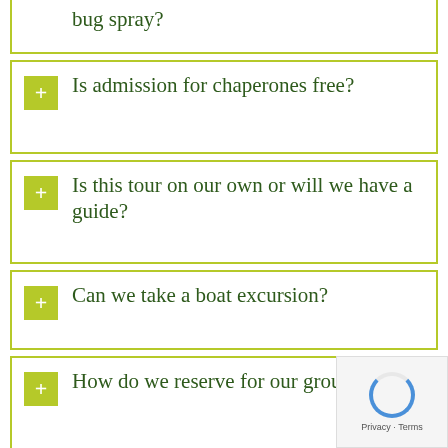bug spray?
Is admission for chaperones free?
Is this tour on our own or will we have a guide?
Can we take a boat excursion?
How do we reserve for our group?